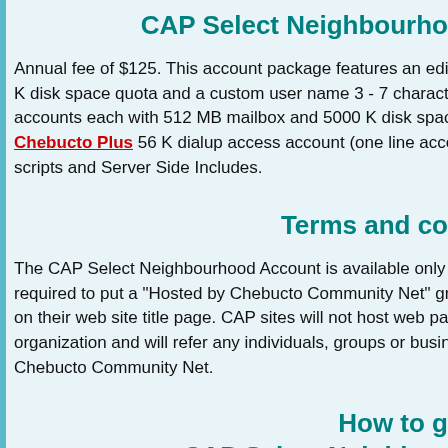CAP Select Neighbourhood (truncated)
Annual fee of $125. This account package features an edit/adm... K disk space quota and a custom user name 3 - 7 characters i... accounts each with 512 MB mailbox and 5000 K disk space fo... Chebucto Plus 56 K dialup access account (one line access o... scripts and Server Side Includes.
Terms and co (truncated)
The CAP Select Neighbourhood Account is available only to C... required to put a "Hosted by Chebucto Community Net" graphi... on their web site title page. CAP sites will not host web pages... organization and will refer any individuals, groups or businesses... Chebucto Community Net.
How to g (truncated)
CAP Select Neighbou (truncated)